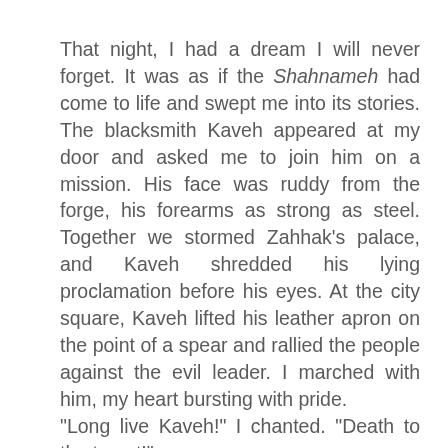That night, I had a dream I will never forget. It was as if the Shahnameh had come to life and swept me into its stories. The blacksmith Kaveh appeared at my door and asked me to join him on a mission. His face was ruddy from the forge, his forearms as strong as steel. Together we stormed Zahhak's palace, and Kaveh shredded his lying proclamation before his eyes. At the city square, Kaveh lifted his leather apron on the point of a spear and rallied the people against the evil leader. I marched with him, my heart bursting with pride.
"Long live Kaveh!" I chanted. "Death to the tyrant!"
The crowd swelled and yelled, their cheers like thunder. Surely our liberation was at hand! But when the cheers were at their